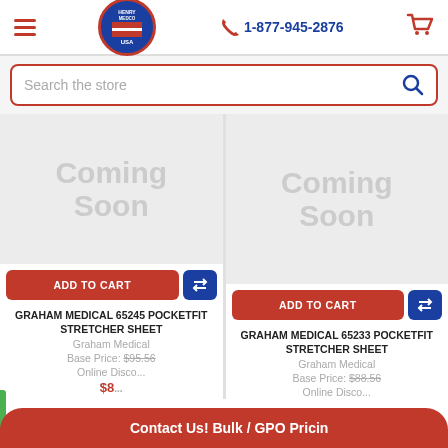1-877-945-2876
[Figure (screenshot): E-commerce website header with hamburger menu, logo, phone number 1-877-945-2876, and cart icon]
[Figure (screenshot): Search bar with placeholder text 'Search the store' and magnifying glass icon]
[Figure (screenshot): Product card left: Coming Soon image placeholder, ADD TO CART button, compare button. Product: GRAHAM MEDICAL 65245 POCKETFIT STRETCHER SHEET. Brand: Graham Medical. Base Price: $95.56. Online Discount shown. Final price starting with $8...]
[Figure (screenshot): Product card right: Coming Soon image placeholder, ADD TO CART button, compare button. Product: GRAHAM MEDICAL 65233 POCKETFIT STRETCHER SHEET. Brand: Graham Medical. Base Price: $88.56. Online Discount shown.]
Contact Us! Bulk / GPO Pricing